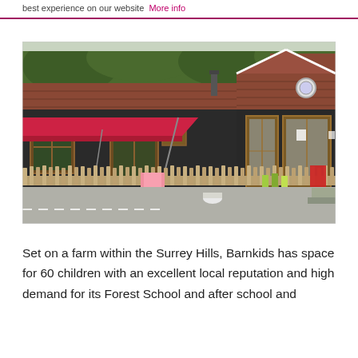best experience on our website  More info
[Figure (photo): Exterior photo of Barnkids nursery/childcare facility set in a barn-style building with dark timber cladding, a terracotta tile roof, wooden-framed windows, a red canopy/awning over an outdoor play area, and a wooden picket fence in front of a parking area. Trees visible in the background.]
Set on a farm within the Surrey Hills, Barnkids has space for 60 children with an excellent local reputation and high demand for its Forest School and after school and